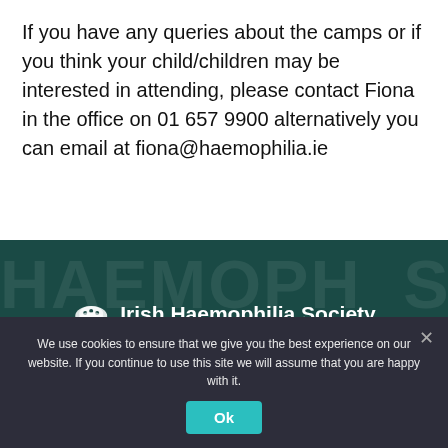If you have any queries about the camps or if you think your child/children may be interested in attending, please contact Fiona in the office on 01 657 9900 alternatively you can email at fiona@haemophilia.ie
[Figure (logo): Irish Haemophilia Society logo with hedgehog icon and organization name in white text on dark teal background]
We use cookies to ensure that we give you the best experience on our website. If you continue to use this site we will assume that you are happy with it.
Ok